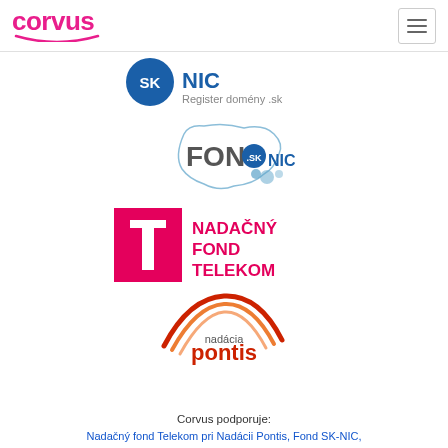corvus  [hamburger menu]
[Figure (logo): SK-NIC logo with text 'Register domény .sk']
[Figure (logo): FOND.SK-NIC logo with Slovakia outline shape]
[Figure (logo): Nadačný Fond Telekom logo with magenta T-Mobile T icon]
[Figure (logo): Nadácia Pontis logo with red/orange arc]
Corvus podporuje:
Nadačný fond Telekom pri Nadácii Pontis, Fond SK-NIC,